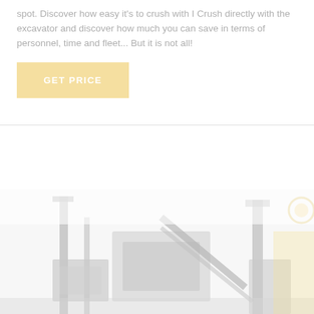spot. Discover how easy it's to crush with I Crush directly with the excavator and discover how much you can save in terms of personnel, time and fleet... But it is not all!
[Figure (illustration): A button labeled GET PRICE in uppercase white letters on a pale yellow/cream background]
[Figure (photo): A faded photograph of construction/excavation machinery equipment, showing heavy machinery parts in a muted gray tone]